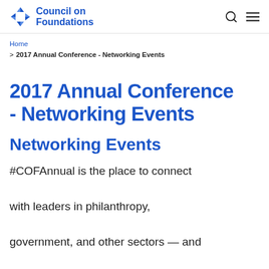Council on Foundations
Home
> 2017 Annual Conference - Networking Events
2017 Annual Conference - Networking Events
Networking Events
#COFAnnual is the place to connect with leaders in philanthropy, government, and other sectors — and